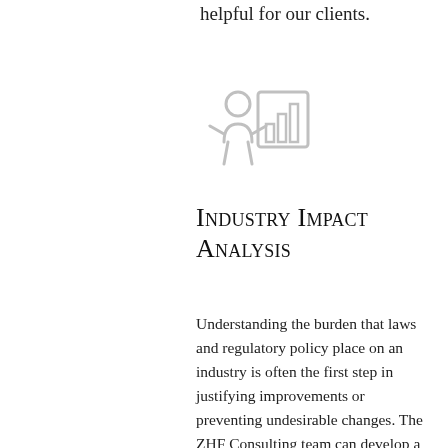helpful for our clients.
[Figure (illustration): Icon of a person presenter with a bar chart, rendered in light gray outline style]
Industry Impact Analysis
Understanding the burden that laws and regulatory policy place on an industry is often the first step in justifying improvements or preventing undesirable changes. The ZHF Consulting team can develop a white paper analyzing current or proposed laws or regulatory policies which apply to an industry. Such a document is an important resource for policy makers to ensure a clear understanding of an